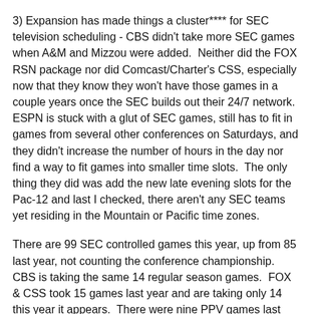3) Expansion has made things a cluster**** for SEC television scheduling - CBS didn't take more SEC games when A&M and Mizzou were added.  Neither did the FOX RSN package nor did Comcast/Charter's CSS, especially now that they know they won't have those games in a couple years once the SEC builds out their 24/7 network.  ESPN is stuck with a glut of SEC games, still has to fit in games from several other conferences on Saturdays, and they didn't increase the number of hours in the day nor find a way to fit games into smaller time slots.  The only thing they did was add the new late evening slots for the Pac-12 and last I checked, there aren't any SEC teams yet residing in the Mountain or Pacific time zones.
There are 99 SEC controlled games this year, up from 85 last year, not counting the conference championship.  CBS is taking the same 14 regular season games.  FOX & CSS took 15 games last year and are taking only 14 this year it appears.  There were nine PPV games last year.  There have been eight so far this year.  Let's say that there will be 12 this year.